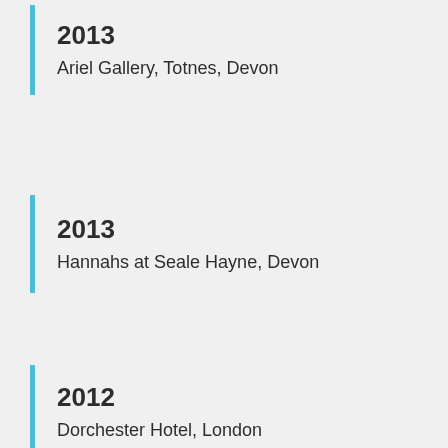2013
Ariel Gallery, Totnes, Devon
2013
Hannahs at Seale Hayne, Devon
2012
Dorchester Hotel, London
2012
English Wine Week, Sharpham Vineyard, Devon